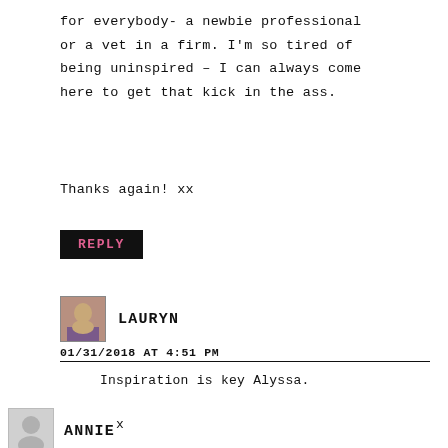for everybody- a newbie professional or a vet in a firm. I'm so tired of being uninspired – I can always come here to get that kick in the ass.
Thanks again! xx
REPLY
LAURYN
01/31/2018 AT 4:51 PM
Inspiration is key Alyssa.

x
ANNIE
01/30/2018 AT 12:38 AM